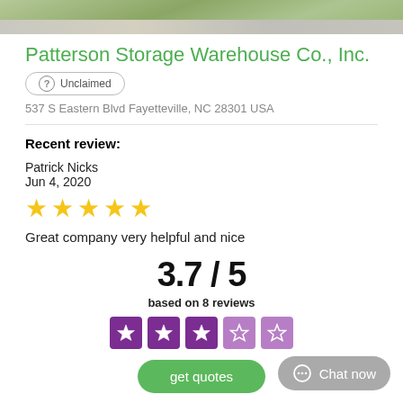[Figure (photo): Top strip of a photo showing grass and pavement/road outdoors]
Patterson Storage Warehouse Co., Inc.
? Unclaimed
537 S Eastern Blvd Fayetteville, NC 28301 USA
Recent review:
Patrick Nicks
Jun 4, 2020
[Figure (infographic): 5 yellow stars rating]
Great company very helpful and nice
3.7 / 5
based on 8 reviews
[Figure (infographic): 3 filled purple stars and 2 empty purple stars rating display]
get quotes
Chat now